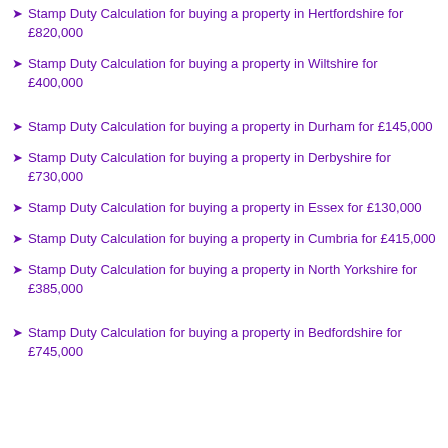Stamp Duty Calculation for buying a property in Hertfordshire for £820,000
Stamp Duty Calculation for buying a property in Wiltshire for £400,000
Stamp Duty Calculation for buying a property in Durham for £145,000
Stamp Duty Calculation for buying a property in Derbyshire for £730,000
Stamp Duty Calculation for buying a property in Essex for £130,000
Stamp Duty Calculation for buying a property in Cumbria for £415,000
Stamp Duty Calculation for buying a property in North Yorkshire for £385,000
Stamp Duty Calculation for buying a property in Bedfordshire for £745,000